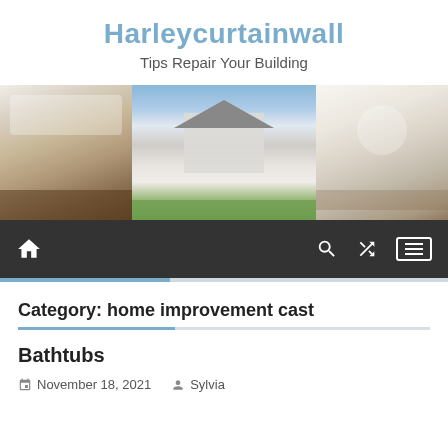Harleycurtainwall
Tips Repair Your Building
[Figure (photo): Three-panel banner: kitchen interior, colonial house exterior, dining room interior]
Navigation bar with home icon, search, shuffle, and menu icons
Category: home improvement cast
Bathtubs
November 18, 2021   Sylvia